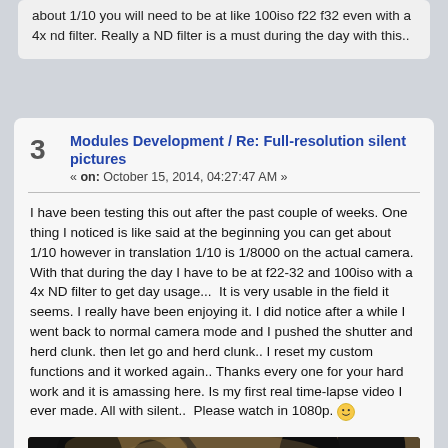about 1/10 you will need to be at like 100iso f22 f32 even with a 4x nd filter. Really a ND filter is a must during the day with this..
Modules Development / Re: Full-resolution silent pictures
« on: October 15, 2014, 04:27:47 AM »
I have been testing this out after the past couple of weeks. One thing I noticed is like said at the beginning you can get about 1/10 however in translation 1/10 is 1/8000 on the actual camera.   With that during the day I have to be at f22-32 and 100iso with a 4x ND filter to get day usage...  It is very usable in the field it seems. I really have been enjoying it. I did notice after a while I went back to normal camera mode and I pushed the shutter and herd clunk. then let go and herd clunk.. I reset my custom functions and it worked again.. Thanks every one for your hard work and it is amassing here. Is my first real time-lapse video I ever made. All with silent..  Please watch in 1080p. 🙂
[Figure (screenshot): Video thumbnail showing a night sky with tree silhouettes and a play button overlay]